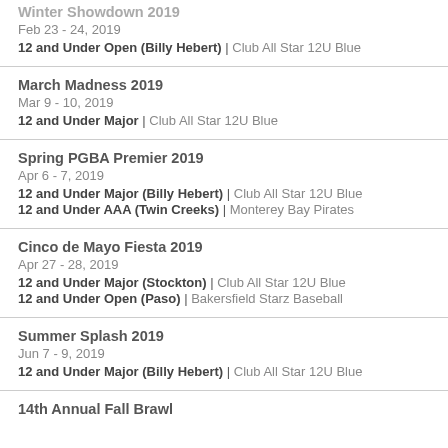Winter Showdown 2019 | Feb 23 - 24, 2019 | 12 and Under Open (Billy Hebert) | Club All Star 12U Blue
March Madness 2019 | Mar 9 - 10, 2019 | 12 and Under Major | Club All Star 12U Blue
Spring PGBA Premier 2019 | Apr 6 - 7, 2019 | 12 and Under Major (Billy Hebert) | Club All Star 12U Blue | 12 and Under AAA (Twin Creeks) | Monterey Bay Pirates
Cinco de Mayo Fiesta 2019 | Apr 27 - 28, 2019 | 12 and Under Major (Stockton) | Club All Star 12U Blue | 12 and Under Open (Paso) | Bakersfield Starz Baseball
Summer Splash 2019 | Jun 7 - 9, 2019 | 12 and Under Major (Billy Hebert) | Club All Star 12U Blue
14th Annual Fall Brawl